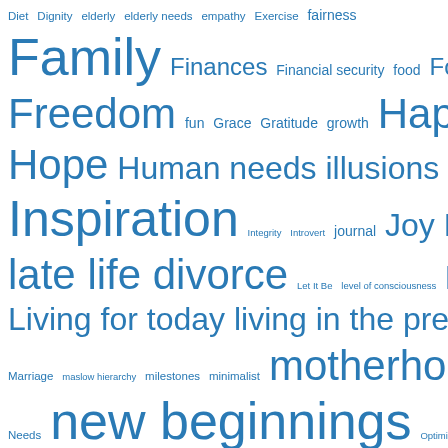[Figure (infographic): Word cloud with terms related to life, wellbeing, relationships, and personal growth. All words are rendered in blue on white background. Word size corresponds to frequency/importance. Terms include: Diet, Dignity, elderly, elderly needs, empathy, Exercise, fairness, Family, Finances, Financial security, food, Forgiveness, Freedom, fun, Grace, Gratitude, growth, Happiness, health, Home, Hope, Human needs, illusions, Inner peace, Inspiration, Integrity, Introvert, journal, Joy, Kindness, late life divorce, Let It Be, level of consciousness, life, lifestyle, Living for today, living in the present moment, Love, Marriage, maslow hierarchy, milestones, minimalist, motherhood, Needs, new beginnings, Optimism, Pain, Peace, peace and contentment, Positive, Pro-active, quiet, relationships, Reliable, Respect, Responses]